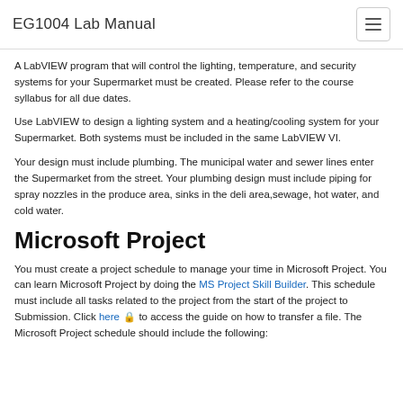EG1004 Lab Manual
A LabVIEW program that will control the lighting, temperature, and security systems for your Supermarket must be created. Please refer to the course syllabus for all due dates.
Use LabVIEW to design a lighting system and a heating/cooling system for your Supermarket. Both systems must be included in the same LabVIEW VI.
Your design must include plumbing. The municipal water and sewer lines enter the Supermarket from the street. Your plumbing design must include piping for spray nozzles in the produce area, sinks in the deli area,sewage, hot water, and cold water.
Microsoft Project
You must create a project schedule to manage your time in Microsoft Project. You can learn Microsoft Project by doing the MS Project Skill Builder. This schedule must include all tasks related to the project from the start of the project to Submission. Click here to access the guide on how to transfer a file. The Microsoft Project schedule should include the following: